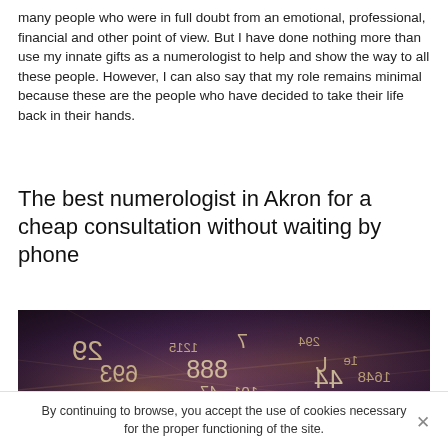many people who were in full doubt from an emotional, professional, financial and other point of view. But I have done nothing more than use my innate gifts as a numerologist to help and show the way to all these people. However, I can also say that my role remains minimal because these are the people who have decided to take their life back in their hands.
The best numerologist in Akron for a cheap consultation without waiting by phone
[Figure (photo): Dark atmospheric photo with glowing numbers floating in space — includes numbers like 29, 1215, 7, 294, 693, 888, 47, 101, 1648, 37, 215, 523, 405, and other numerals in a swirling light effect.]
By continuing to browse, you accept the use of cookies necessary for the proper functioning of the site.